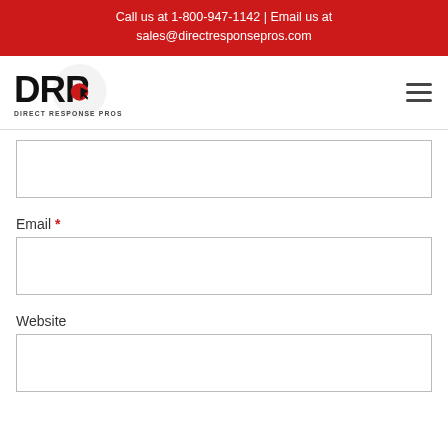Call us at 1-800-947-1142 | Email us at sales@directresponsepros.com
[Figure (logo): DRP Direct Response Pros logo — bold black DRP text with a red dot and cursor icon, circular background, subtitle DIRECT RESPONSE PROS]
Email *
Website